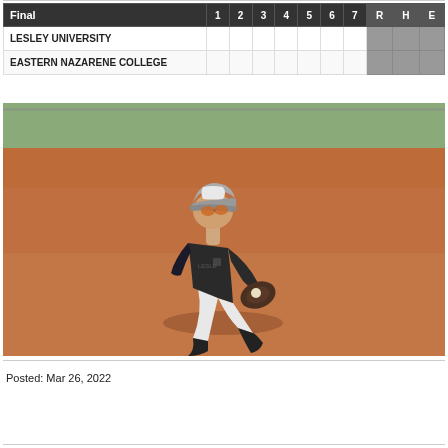| Final | 1 | 2 | 3 | 4 | 5 | 6 | 7 | R | H | E |
| --- | --- | --- | --- | --- | --- | --- | --- | --- | --- | --- |
| LESLEY UNIVERSITY |  |  |  |  |  |  |  |  |  |  |
| EASTERN NAZARENE COLLEGE |  |  |  |  |  |  |  |  |  |  |
[Figure (photo): A baseball player in a dark jersey and gray cap, wearing sunglasses, crouching low on a red dirt infield to field a ground ball with a glove. The photo is taken outdoors on a sunny day at a baseball field.]
Posted: Mar 26, 2022